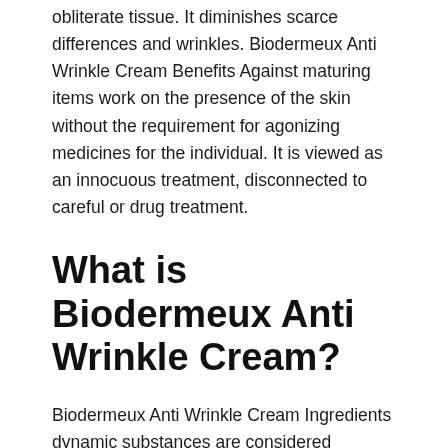obliterate tissue. It diminishes scarce differences and wrinkles. Biodermeux Anti Wrinkle Cream Benefits Against maturing items work on the presence of the skin without the requirement for agonizing medicines for the individual. It is viewed as an innocuous treatment, disconnected to careful or drug treatment.
What is Biodermeux Anti Wrinkle Cream?
Biodermeux Anti Wrinkle Cream Ingredients dynamic substances are considered unadulterated .It likewise diminishes dull spots and blemishes in the shadows under the eyes, because of which your skin looks brilliant and normally brilliant. Against maturing cream makes you exhausted and compromised skin considerably more